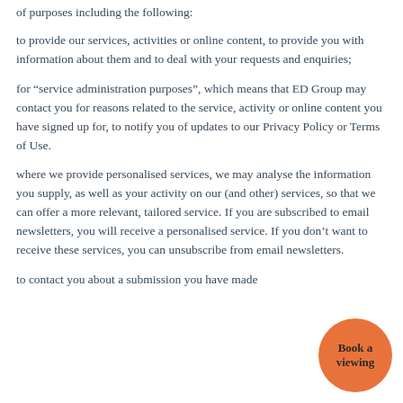of purposes including the following:
to provide our services, activities or online content, to provide you with information about them and to deal with your requests and enquiries;
for “service administration purposes”, which means that ED Group may contact you for reasons related to the service, activity or online content you have signed up for, to notify you of updates to our Privacy Policy or Terms of Use.
where we provide personalised services, we may analyse the information you supply, as well as your activity on our (and other) services, so that we can offer a more relevant, tailored service. If you are subscribed to email newsletters, you will receive a personalised service. If you don’t want to receive these services, you can unsubscribe from email newsletters.
to contact you about a submission you have made
[Figure (other): Orange circular button with text 'Book a viewing']